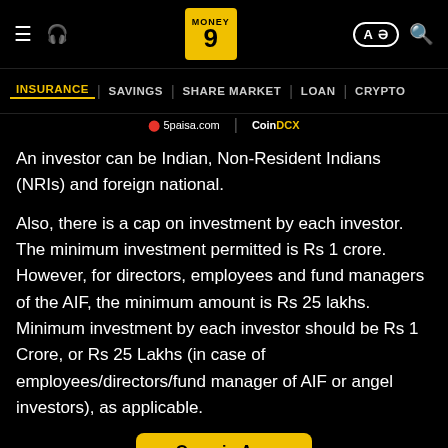Money9 — INSURANCE | SAVINGS | SHARE MARKET | LOAN | CRYPTO — 5paisa.com | CoinDCX
An investor can be Indian, Non-Resident Indians (NRIs) and foreign national.
Also, there is a cap on investment by each investor. The minimum investment permitted is Rs 1 crore. However, for directors, employees and fund managers of the AIF, the minimum amount is Rs 25 lakhs. Minimum investment by each investor should be Rs 1 Crore, or Rs 25 Lakhs (in case of employees/directors/fund manager of AIF or angel investors), as applicable.
Open in App
Additionally, the funds restrict the number of investors per scheme to 1,000. However, for Angel funds, it is 49. Furthermore, AIFs have a minimum lock-in of three years